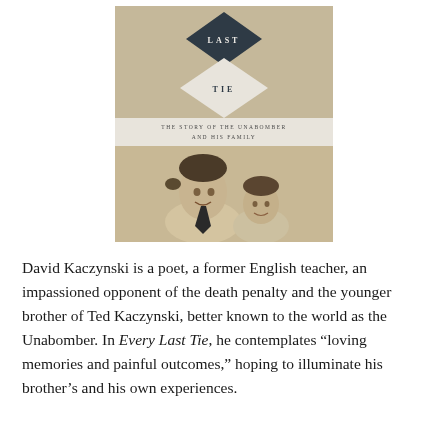[Figure (illustration): Book cover of 'Every Last Tie: The Story of the Unabomber and His Family'. Features diamond shapes with the words LAST and TIE, a subtitle band reading 'THE STORY OF THE UNABOMBER AND HIS FAMILY', and a vintage sepia photograph of two young boys.]
David Kaczynski is a poet, a former English teacher, an impassioned opponent of the death penalty and the younger brother of Ted Kaczynski, better known to the world as the Unabomber. In Every Last Tie, he contemplates “loving memories and painful outcomes,” hoping to illuminate his brother’s and his own experiences.